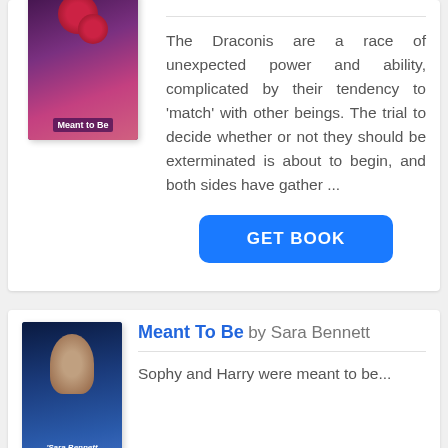[Figure (illustration): Book cover for 'Meant to Be' with dark purple/red gradient and cherries motif]
The Draconis are a race of unexpected power and ability, complicated by their tendency to 'match' with other beings. The trial to decide whether or not they should be exterminated is about to begin, and both sides have gather ...
GET BOOK
Meant To Be by Sara Bennett
[Figure (illustration): Book cover for 'Meant to Be' by Sara Bennett with couple embracing]
Sophy and Harry were meant to be...